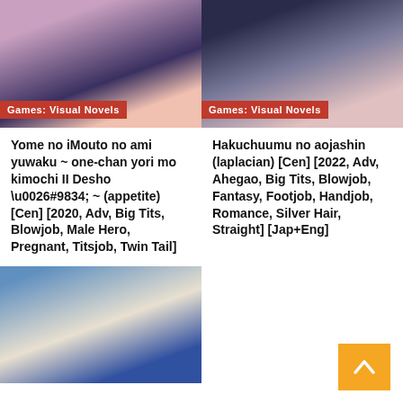[Figure (illustration): Anime visual novel cover image, left column top, with 'Games: Visual Novels' label overlay]
[Figure (illustration): Anime visual novel cover image, right column top, with 'Games: Visual Novels' label overlay]
Yome no iMouto no ami yuwaku ~ one-chan yori mo kimochi II Desho \u0026#9834; ~ (appetite) [Cen] [2020, Adv, Big Tits, Blowjob, Male Hero, Pregnant, Titsjob, Twin Tail]
Hakuchuumu no aojashin (laplacian) [Cen] [2022, Adv, Ahegao, Big Tits, Blowjob, Fantasy, Footjob, Handjob, Romance, Silver Hair, Straight] [Jap+Eng]
[Figure (illustration): Anime visual novel cover image, left column bottom row]